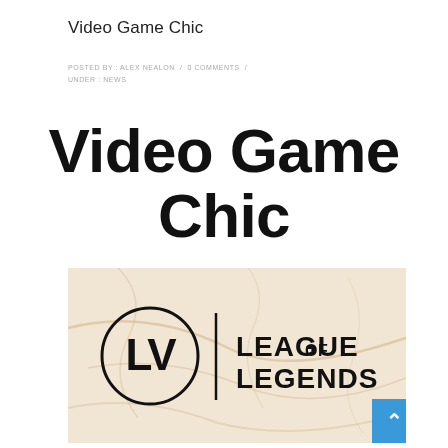Video Game Chic
POSTED BY : ALEX NEALON / 0 COMMENTS / UNDER : NEWS
Video Game Chic
[Figure (logo): Louis Vuitton LV monogram logo circle with a vertical divider bar and 'LEAGUE OF LEGENDS' text in bold, on a marble-textured cream/beige background]